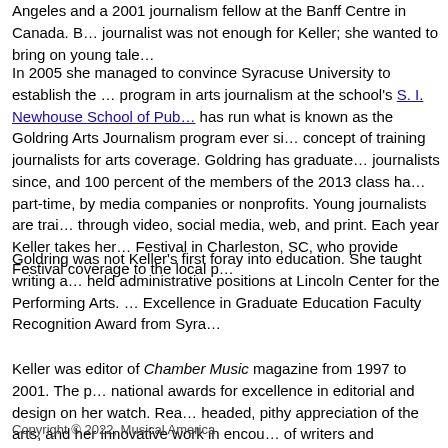Angeles and a 2001 journalism fellow at the Banff Centre in Canada. Being a journalist was not enough for Keller; she wanted to bring on young tal…
In 2005 she managed to convince Syracuse University to establish the … program in arts journalism at the school's S. I. Newhouse School of Pub… has run what is known as the Goldring Arts Journalism program ever si… concept of training journalists for arts coverage. Goldring has graduate… journalists since, and 100 percent of the members of the 2013 class ha… part-time, by media companies or nonprofits. Young journalists are trai… through video, social media, web, and print. Each year Keller takes her… Festival in Charleston, SC, who provide Festival coverage to the local p…
Goldring was not Keller's first foray into education. She taught writing a… held administrative positions at Lincoln Center for the Performing Arts. … Excellence in Graduate Education Faculty Recognition Award from Syra…
Keller was editor of Chamber Music magazine from 1997 to 2001. The p… national awards for excellence in editorial and design on her watch. Rea… headed, pithy appreciation of the arts, and her innovative work in encou… of writers and broadcasters is further reason to salute her contribution t…
Carol Lazier
Copyright © 2022, Musical America